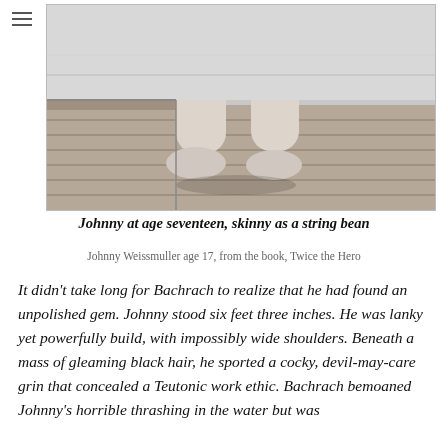[Figure (photo): Black and white photograph of Johnny Weissmuller at age 17, showing his legs and feet standing on what appears to be a wooden dock or pool deck. The image is cropped at the thighs.]
Johnny at age seventeen, skinny as a string bean
Johnny Weissmuller age 17, from the book, Twice the Hero
It didn't take long for Bachrach to realize that he had found an unpolished gem. Johnny stood six feet three inches. He was lanky yet powerfully build, with impossibly wide shoulders. Beneath a mass of gleaming black hair, he sported a cocky, devil-may-care grin that concealed a Teutonic work ethic. Bachrach bemoaned Johnny's horrible thrashing in the water but was